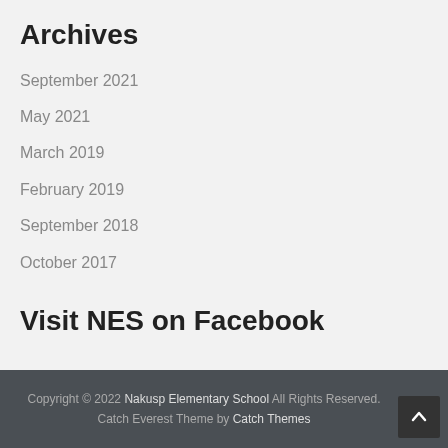Archives
September 2021
May 2021
March 2019
February 2019
September 2018
October 2017
Visit NES on Facebook
Copyright © 2022 Nakusp Elementary School All Rights Reserved. Catch Everest Theme by Catch Themes